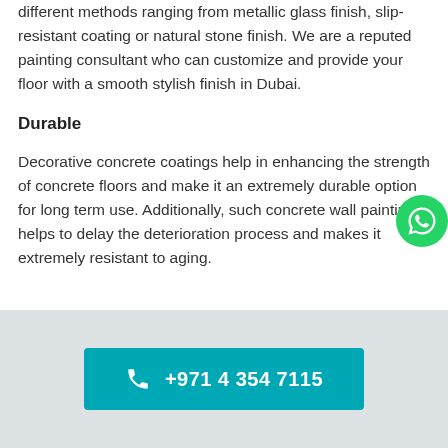different methods ranging from metallic glass finish, slip-resistant coating or natural stone finish. We are a reputed painting consultant who can customize and provide your floor with a smooth stylish finish in Dubai.
Durable
Decorative concrete coatings help in enhancing the strength of concrete floors and make it an extremely durable option for long term use. Additionally, such concrete wall painting helps to delay the deterioration process and makes it extremely resistant to aging.
[Figure (logo): WhatsApp green circular icon button on the right side]
+971 4 354 7115